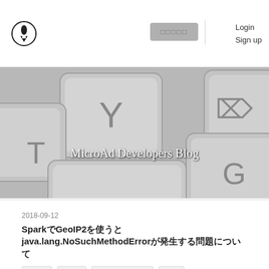MicroAd Developers Blog — Login | Sign up
[Figure (photo): Close-up photo of gray keyboard keys (Y, T, G visible) with 'MicroAd Developers Blog' text overlay]
2018-09-12
SparkでGeoIP2を使うとjava.lang.NoSuchMethodErrorが発生する問題について
Spark
Scala
Spark Streaming
Tips